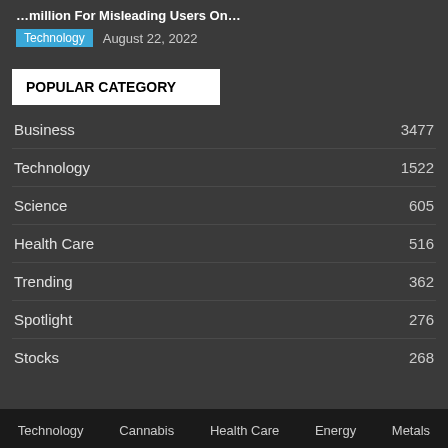…million For Misleading Users On…
Technology  August 22, 2022
POPULAR CATEGORY
Business 3477
Technology 1522
Science 605
Health Care 516
Trending 362
Spotlight 276
Stocks 268
Technology  Cannabis  Health Care  Energy  Metals